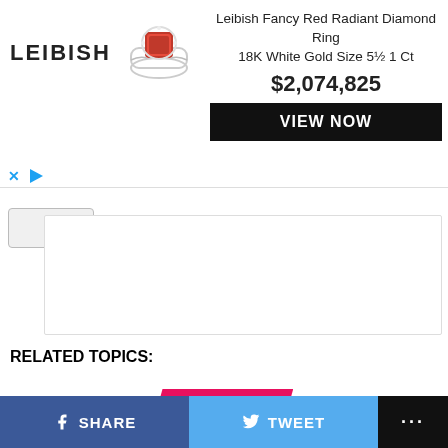[Figure (screenshot): Leibish jewelry advertisement banner showing logo, diamond ring image, product title, price $2,074,825, and VIEW NOW button]
RELATED TOPICS:
YOU MAY LIKE
CLICK TO COMMENT
SOCIAL SECURITY
SHARE   TWEET   ...